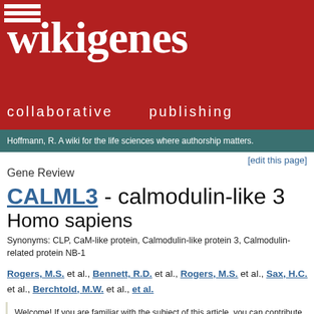[Figure (logo): WikiGenes logo — red background with large white serif 'wikigenes' text and 'collaborative publishing' subtitle]
Hoffmann, R. A wiki for the life sciences where authorship matters.
[edit this page]
Gene Review
CALML3 - calmodulin-like 3 Homo sapiens
Synonyms: CLP, CaM-like protein, Calmodulin-like protein 3, Calmodulin-related protein NB-1
Rogers, M.S. et al., Bennett, R.D. et al., Rogers, M.S. et al., Sax, H.C. et al., Berchtold, M.W. et al., et al.
Welcome! If you are familiar with the subject of this article, you can contribute to this open access knowledge base by deleting incorrect information, restructuring or completely rewriting any text. Read more.